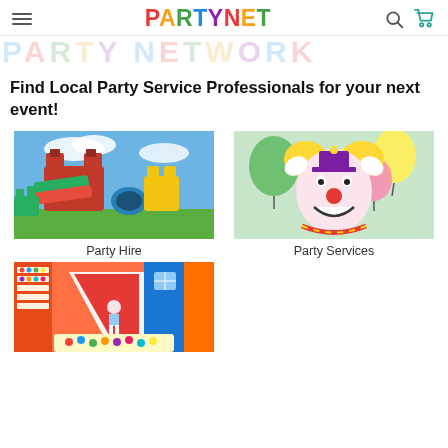PartyNet — navigation header with hamburger menu, logo, search and cart icons
[Figure (illustration): Large faded banner text reading PARTY NETWORK in colorful letters]
Find Local Party Service Professionals for your next event!
[Figure (photo): Colorful inflatable bounce house / obstacle course party hire equipment outdoors]
Party Hire
[Figure (photo): Happy clown with yellow hair, red nose, white gloves, and colorful balloons in background]
Party Services
[Figure (photo): Child on a red slide inside a colourful indoor play centre with ball pit]